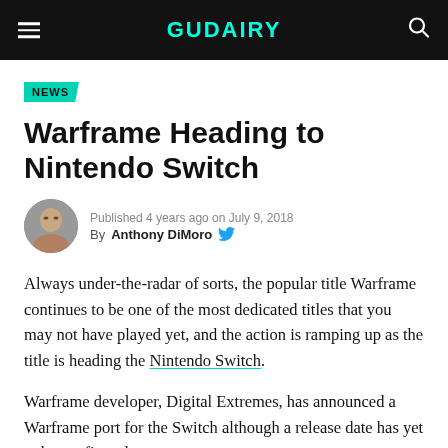GUDAIRY
NEWS
Warframe Heading to Nintendo Switch
Published 4 years ago on July 9, 2018
By Anthony DiMoro
Always under-the-radar of sorts, the popular title Warframe continues to be one of the most dedicated titles that you may not have played yet, and the action is ramping up as the title is heading the Nintendo Switch.
Warframe developer, Digital Extremes, has announced a Warframe port for the Switch although a release date has yet to be confirmed.